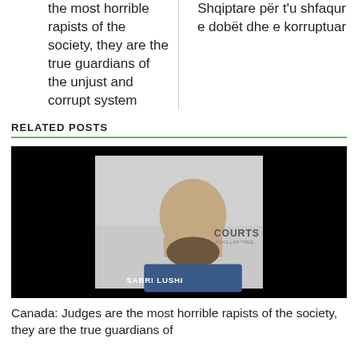the most horrible rapists of the society, they are the true guardians of the unjust and corrupt system
Shqiptare për t'u shfaqur e dobët dhe e korruptuar
RELATED POSTS
[Figure (photo): Video thumbnail showing a bald bearded man speaking, with black bars on sides, text 'COURTS' visible, label '...video' at bottom left and 'SABRI LUSHI' at bottom center]
Canada: Judges are the most horrible rapists of the society, they are the true guardians of